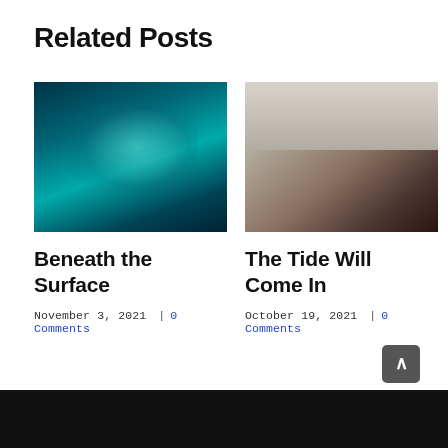Related Posts
[Figure (photo): Underwater photo of a person swimming in a pool with teal water and light reflections]
Beneath the Surface
November 3, 2021 | 0 Comments
[Figure (photo): Woman lying on rocks at a beach with dark hair, wearing jeans and a dark top, looking upward]
The Tide Will Come In
October 19, 2021 | 0 Comments